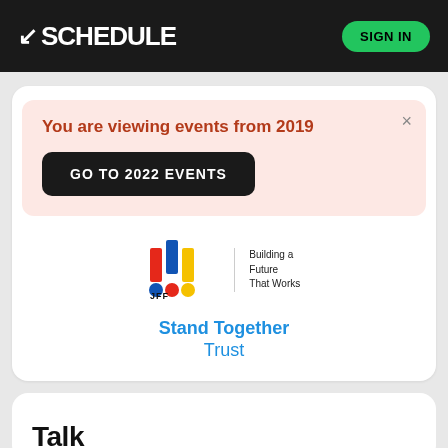K SCHEDULE | SIGN IN
You are viewing events from 2019
GO TO 2022 EVENTS
[Figure (logo): JFF logo with colorful bars and text 'Building a Future That Works']
Stand Together
Trust
Talk